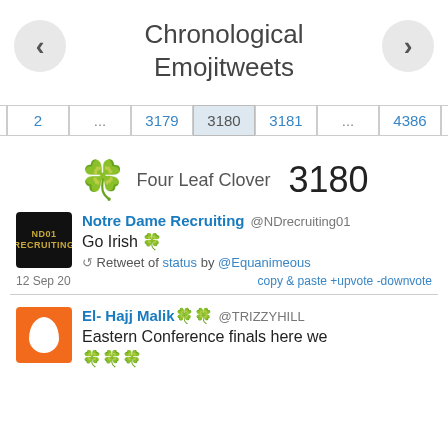Chronological Emojitweets
Four Leaf Clover 3180
Notre Dame Recruiting @NDrecruiting01
Go Irish 🍀
Retweet of status by @Equanimeous
12 Sep 20  copy & paste +upvote -downvote
El- Hajj Malik🍀🍀 @TRIZZYHILL
Eastern Conference finals here we 🍀🍀🍀